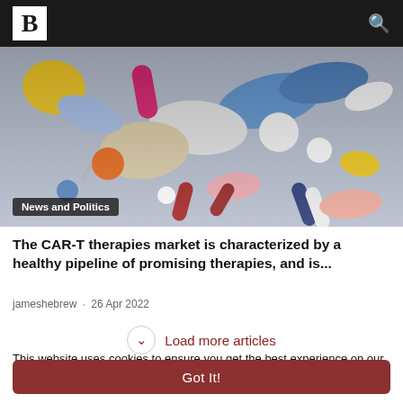B [logo] [search icon]
[Figure (photo): Close-up photo of assorted colorful pills, tablets and capsules — blue, white, pink, red, yellow, orange — piled together on a surface. A dark badge reads 'News and Politics' overlaid in the bottom-left corner.]
The CAR-T therapies market is characterized by a healthy pipeline of promising therapies, and is...
jameshebrew · 26 Apr 2022
Load more articles
This website uses cookies to ensure you get the best experience on our website. Learn More
Got It!